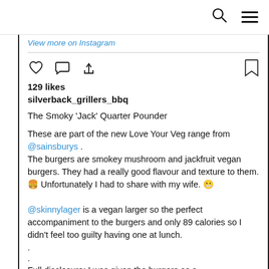[search icon] [menu icon]
View more on Instagram
[heart icon] [comment icon] [share icon]   [bookmark icon]
129 likes
silverback_grillers_bbq

The Smoky 'Jack' Quarter Pounder

These are part of the new Love Your Veg range from @sainsburys .
The burgers are smokey mushroom and jackfruit vegan burgers. They had a really good flavour and texture to them. 🍔 Unfortunately I had to share with my wife. 😬

@skinnylager is a vegan larger so the perfect accompaniment to the burgers and only 89 calories so I didn't feel too guilty having one at lunch.
.
.
Full disclosure: I was given the burgers as a